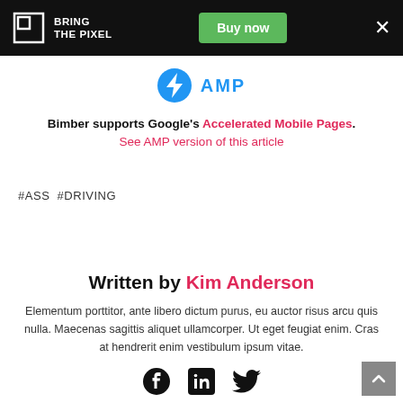BRING THE PIXEL | Buy now | ×
[Figure (logo): AMP logo — blue circle with lightning bolt icon and AMP text in blue]
Bimber supports Google's Accelerated Mobile Pages. See AMP version of this article
#ASS #DRIVING
Written by Kim Anderson
Elementum porttitor, ante libero dictum purus, eu auctor risus arcu quis nulla. Maecenas sagittis aliquet ullamcorper. Ut eget feugiat enim. Cras at hendrerit enim vestibulum ipsum vitae.
[Figure (illustration): Social share icons: Facebook, LinkedIn, Twitter]